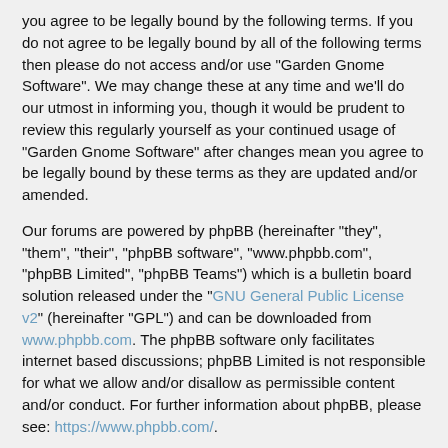you agree to be legally bound by the following terms. If you do not agree to be legally bound by all of the following terms then please do not access and/or use "Garden Gnome Software". We may change these at any time and we'll do our utmost in informing you, though it would be prudent to review this regularly yourself as your continued usage of "Garden Gnome Software" after changes mean you agree to be legally bound by these terms as they are updated and/or amended.
Our forums are powered by phpBB (hereinafter "they", "them", "their", "phpBB software", "www.phpbb.com", "phpBB Limited", "phpBB Teams") which is a bulletin board solution released under the "GNU General Public License v2" (hereinafter "GPL") and can be downloaded from www.phpbb.com. The phpBB software only facilitates internet based discussions; phpBB Limited is not responsible for what we allow and/or disallow as permissible content and/or conduct. For further information about phpBB, please see: https://www.phpbb.com/.
You agree not to post any abusive, obscene, vulgar, slanderous, hateful, threatening, sexually-orientated or any other material that may violate any laws be it of your country, the country where "Garden Gnome Software" is hosted or International Law. Doing